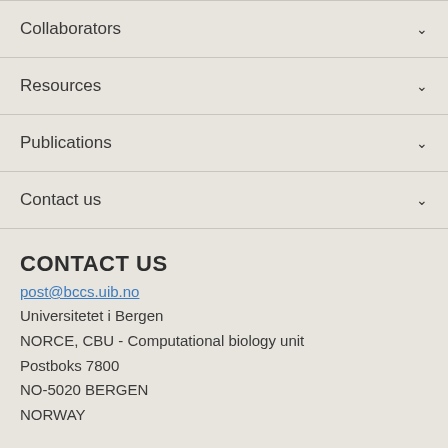Collaborators
Resources
Publications
Contact us
CONTACT US
post@bccs.uib.no
Universitetet i Bergen
NORCE, CBU - Computational biology unit
Postboks 7800
NO-5020 BERGEN
NORWAY
VISIT US